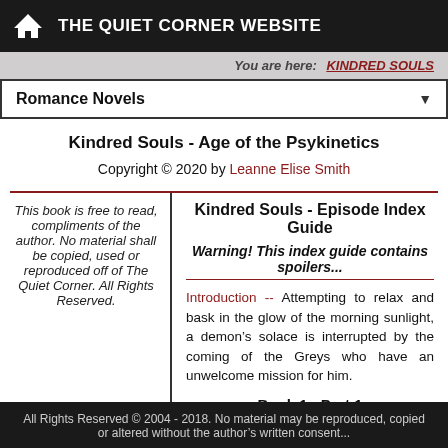THE QUIET CORNER WEBSITE
You are here: KINDRED SOULS
Romance Novels
Kindred Souls - Age of the Psykinetics
Copyright © 2020 by Leanne Elise Smith
Kindred Souls - Episode Index Guide
Warning! This index guide contains spoilers...
This book is free to read, compliments of the author. No material shall be copied, used or reproduced off of The Quiet Corner. All Rights Reserved.
Introduction -- Attempting to relax and bask in the glow of the morning sunlight, a demon's solace is interrupted by the coming of the Greys who have an unwelcome mission for him.
Book 1 - Part 1
All Rights Reserved © 2004 - 2018. No material may be reproduced, copied or altered without the author's written consent...